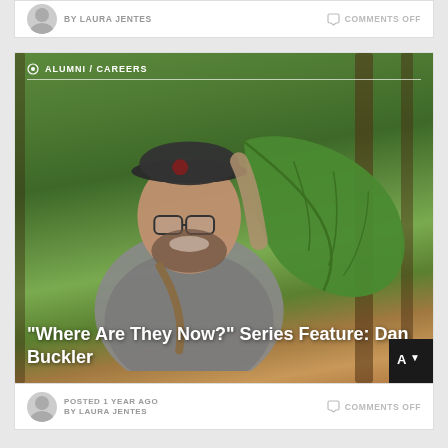BY LAURA JENTES
COMMENTS OFF
[Figure (photo): Man smiling in a forest, wearing a baseball cap and glasses, holding up a large green leaf. He has a beard and is wearing a grey t-shirt with a crossbody bag.]
ALUMNI / CAREERS
“Where Are They Now?” Series Feature: Dan Buckler
POSTED 1 YEAR AGO
BY LAURA JENTES
COMMENTS OFF